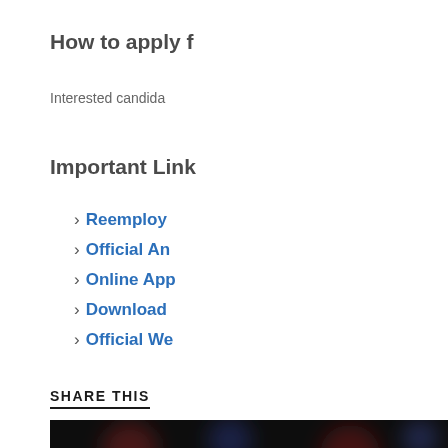How to apply f
Interested candida
Important Link
Reemploy
Official An
Online App
Download
Official We
SHARE THIS
[Figure (photo): Dark background image with blurred red and blue bokeh light effects]